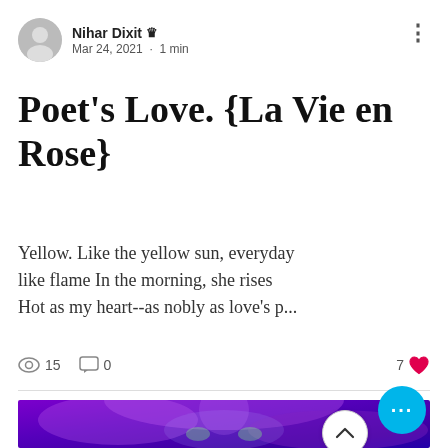Nihar Dixit ♛ Mar 24, 2021 · 1 min
Poet's Love. {La Vie en Rose}
Yellow. Like the yellow sun, everyday like flame In the morning, she rises Hot as my heart--as nobly as love's p...
15 views · 0 comments · 7 likes
[Figure (photo): Purple/violet fantasy face with glowing green eyes and ornamental headpiece]